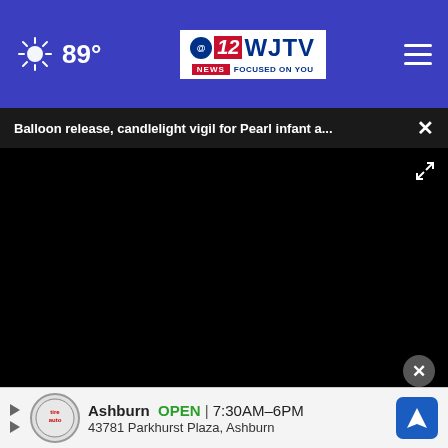89° WJTV 12 News Focused On You
Balloon release, candlelight vigil for Pearl infant a...
[Figure (screenshot): Video player showing black screen (video paused/blank) with play button and mute/fullscreen controls]
[Figure (photo): Hands holding Crayola crayons or markers]
Ashburn OPEN | 7:30AM–6PM
43781 Parkhurst Plaza, Ashburn